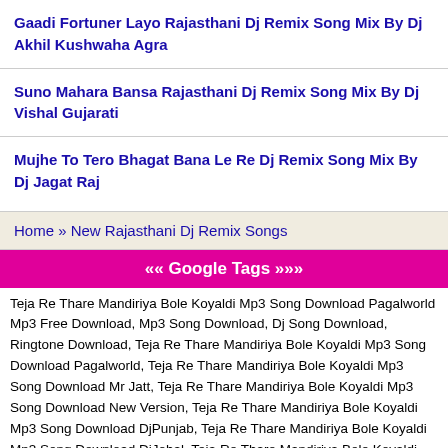Gaadi Fortuner Layo Rajasthani Dj Remix Song Mix By Dj Akhil Kushwaha Agra
Suno Mahara Bansa Rajasthani Dj Remix Song Mix By Dj Vishal Gujarati
Mujhe To Tero Bhagat Bana Le Re Dj Remix Song Mix By Dj Jagat Raj
Home » New Rajasthani Dj Remix Songs
«« Google Tags »»»
Teja Re Thare Mandiriya Bole Koyaldi Mp3 Song Download Pagalworld Mp3 Free Download, Mp3 Song Download, Dj Song Download, Ringtone Download, Teja Re Thare Mandiriya Bole Koyaldi Mp3 Song Download Pagalworld, Teja Re Thare Mandiriya Bole Koyaldi Mp3 Song Download Mr Jatt, Teja Re Thare Mandiriya Bole Koyaldi Mp3 Song Download New Version, Teja Re Thare Mandiriya Bole Koyaldi Mp3 Song Download DjPunjab, Teja Re Thare Mandiriya Bole Koyaldi Mp3 Song Download DjJohal, Teja Re Thare Mandiriya Bole Koyaldi Mp3 Song Download Zedge, Teja Re Thare Mandiriya Bole Koyaldi Mp3 Song Download Downloadming, Teja Re Thare Mandiriya Bole Koyaldi Mp3 Song Download Mr3tau, Teja Re Thare Mandiriya Bole Koyaldi Mp3 Song Download Mr Thare...